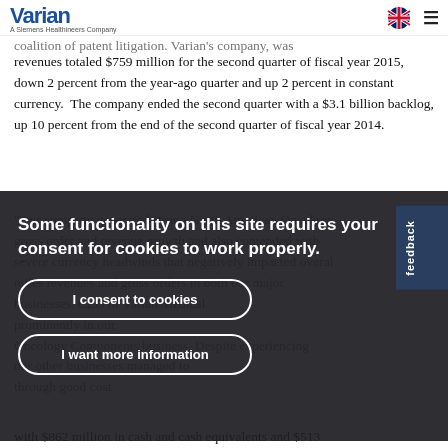Varian – A Siemens Healthineers Company
coalition of patent litigation. Varian's company-wide revenues totaled $759 million for the second quarter of fiscal year 2015, down 2 percent from the year-ago quarter and up 2 percent in constant currency. The company ended the second quarter with a $3.1 billion backlog, up 10 percent from the end of the second quarter of fiscal year 2014.
"Our company generated strong North American Oncology gross order and revenue growth and also contended with severe currency headwinds that negatively impacted overall revenues and gross orders in both our major businesses. CEO of Varian Medical Systems commented prominently in our Oncology Components business. Despite experiencing our other businesses managed to ... through good cost
[Figure (screenshot): Cookie consent overlay with dark semi-transparent background. Contains text 'Some functionality on this site requires your consent for cookies to work properly.' with two buttons: 'I consent to cookies' and 'I want more information']
with $862 million in cash and cash equivalents and $513